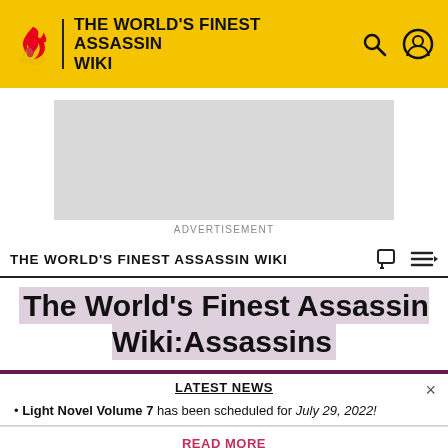THE WORLD'S FINEST ASSASSIN WIKI
[Figure (screenshot): Advertisement placeholder gray rectangle]
ADVERTISEMENT
THE WORLD'S FINEST ASSASSIN WIKI
The World's Finest Assassin Wiki:Assassins
LATEST NEWS
• Light Novel Volume 7 has been scheduled for July 29, 2022!
READ MORE